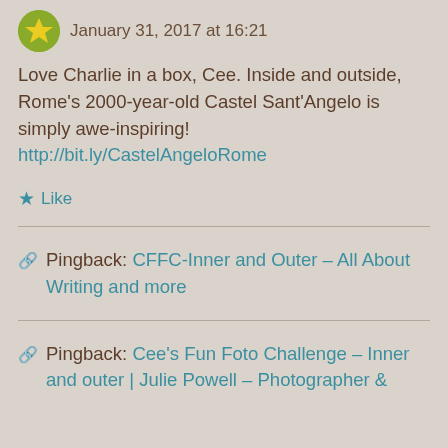January 31, 2017 at 16:21
Love Charlie in a box, Cee. Inside and outside, Rome's 2000-year-old Castel Sant'Angelo is simply awe-inspiring!
http://bit.ly/CastelAngeloRome
★ Like
Pingback: CFFC-Inner and Outer – All About Writing and more
Pingback: Cee's Fun Foto Challenge – Inner and outer | Julie Powell – Photographer &